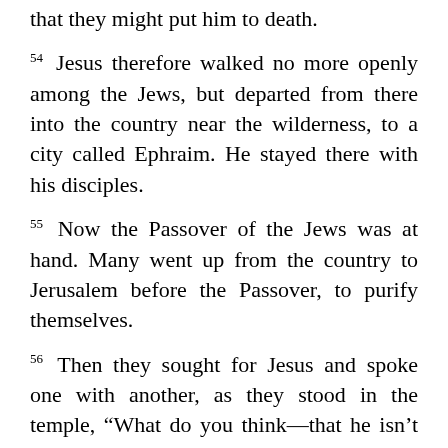that they might put him to death.
54 Jesus therefore walked no more openly among the Jews, but departed from there into the country near the wilderness, to a city called Ephraim. He stayed there with his disciples.
55 Now the Passover of the Jews was at hand. Many went up from the country to Jerusalem before the Passover, to purify themselves.
56 Then they sought for Jesus and spoke one with another, as they stood in the temple, “What do you think—that he isn’t coming to the feast at all?”
57 Now the chief priests and the Pharisees had commanded, that if anyone knew where he